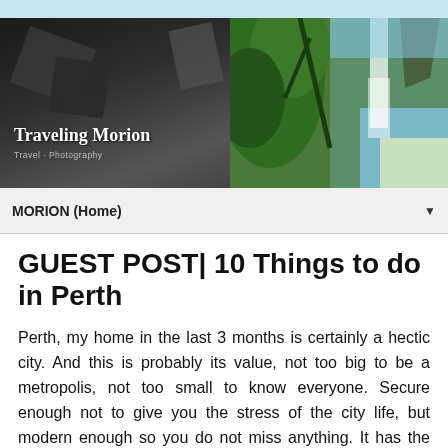[Figure (photo): Travel blog banner with three panels: dark left panel with 'Traveling Morion' title, center panel with tropical green foliage and waterfall/beach scene, right panel with colorful market/people scene]
MORION (Home)
GUEST POST| 10 Things to do in Perth
Perth, my home in the last 3 months is certainly a hectic city. And this is probably its value, not too big to be a metropolis, not too small to know everyone. Secure enough not to give you the stress of the city life, but modern enough so you do not miss anything. It has the perfect weather almost all year round, ideal for water sports such as surfing and kite surfing.